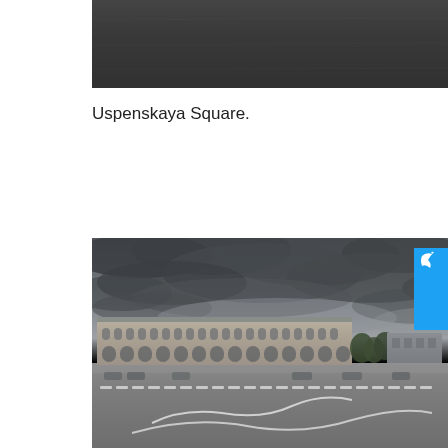[Figure (photo): Top portion of a photo showing a dark textured surface, partially visible at the top of the page]
Uspenskaya Square.
[Figure (photo): Photograph of Uspenskaya Square showing a large open paved square in the foreground with white line markings, a historic multi-story building with arched windows along the middle ground, dramatic stormy grey cloudy sky, green trees to the right, and a Twitter 'Follow me' button overlay on the right edge]